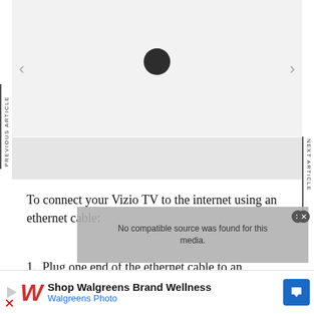[Figure (screenshot): Article image area with a dark circular dot/play button on a light gray background, with left and right navigation arrows, and a thumbnail strip below]
PREVIOUS ARTICLE
NEXT ARTICLE
To connect your Vizio TV to the internet using an ethernet cable:
1. Plug one end of the ethernet cable to an
[Figure (screenshot): Video overlay with text 'No compatible source was found for this media.' and a close button]
[Figure (screenshot): Walgreens advertisement banner: Shop Walgreens Brand Wellness / Walgreens Photo]